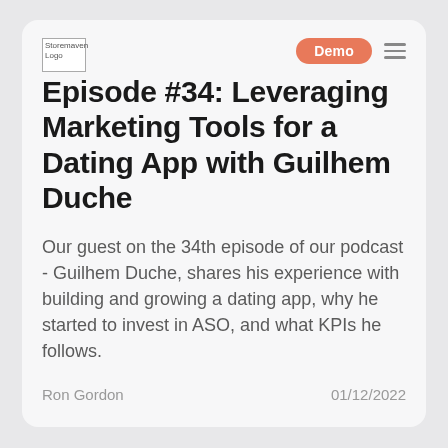Storemaven Logo | Demo
Episode #34: Leveraging Marketing Tools for a Dating App with Guilhem Duche
Our guest on the 34th episode of our podcast - Guilhem Duche, shares his experience with building and growing a dating app, why he started to invest in ASO, and what KPIs he follows.
Ron Gordon | 01/12/2022